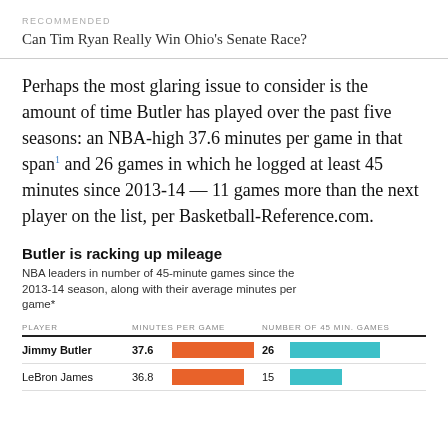RECOMMENDED
Can Tim Ryan Really Win Ohio's Senate Race?
Perhaps the most glaring issue to consider is the amount of time Butler has played over the past five seasons: an NBA-high 37.6 minutes per game in that span¹ and 26 games in which he logged at least 45 minutes since 2013-14 — 11 games more than the next player on the list, per Basketball-Reference.com.
Butler is racking up mileage
NBA leaders in number of 45-minute games since the 2013-14 season, along with their average minutes per game*
[Figure (bar-chart): Butler is racking up mileage]